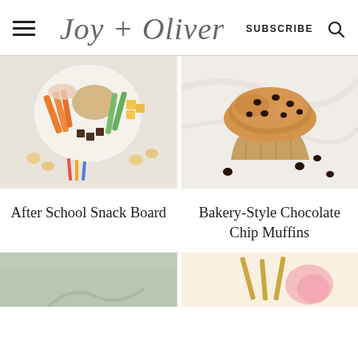Joy + Oliver | SUBSCRIBE
[Figure (photo): After School Snack Board - overhead view of a plate with vegetables, carrots, celery, cheese, hummus, crackers, and chocolates with pencils and goldfish crackers scattered around]
[Figure (photo): Bakery-Style Chocolate Chip Muffins - close-up of a large golden muffin with chocolate chips on a marble surface with scattered chocolate chips]
After School Snack Board
Bakery-Style Chocolate Chip Muffins
[Figure (photo): Partial view of a food photo - bottom left card, partially visible]
[Figure (photo): Partial view of a food photo with gold forks - bottom right card, partially visible]